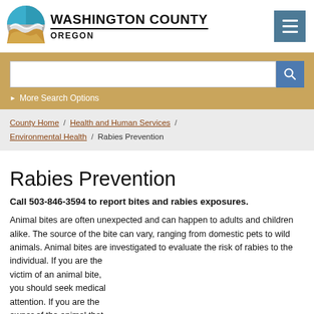Washington County Oregon
[Figure (logo): Washington County Oregon logo with circular emblem showing waves and landscape]
More Search Options
County Home / Health and Human Services / Environmental Health / Rabies Prevention
Rabies Prevention
Call 503-846-3594 to report bites and rabies exposures.
Animal bites are often unexpected and can happen to adults and children alike. The source of the bite can vary, ranging from domestic pets to wild animals. Animal bites are investigated to evaluate the risk of rabies to the individual. If you are the victim of an animal bite, you should seek medical attention. If you are the owner of the animal that